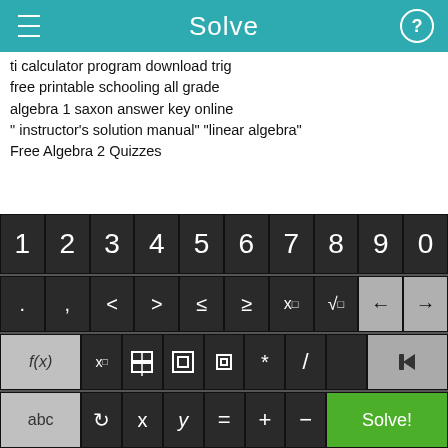Solve
ti calculator program download trig
free printable schooling all grade
algebra 1 saxon answer key online
" instructor's solution manual" "linear algebra"
Free Algebra 2 Quizzes
summation of limits of exponents
4th grade fraction worksheets
free grade two geometry worksheets
free kumon homework
Printable Math Sheets 9 Tables
[Figure (screenshot): Mobile math calculator keyboard with numeric keys 1-0, symbol keys including <, >, ≤, ≥, x^□, √, arrow keys, f(x), x subscript, fraction, absolute value, bracket, *, /, delete, abc, rotation, x, y, =, +, -, and green Solve! button]